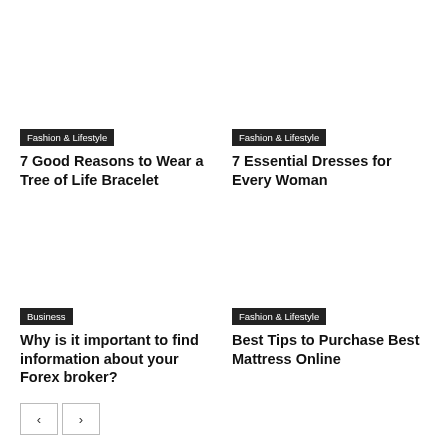[Figure (photo): Image placeholder for top-left article about Tree of Life Bracelet]
Fashion & Lifestyle
7 Good Reasons to Wear a Tree of Life Bracelet
[Figure (photo): Image placeholder for top-right article about Essential Dresses]
Fashion & Lifestyle
7 Essential Dresses for Every Woman
[Figure (photo): Image placeholder for bottom-left article about Forex broker]
Business
Why is it important to find information about your Forex broker?
[Figure (photo): Image placeholder for bottom-right article about Mattress]
Fashion & Lifestyle
Best Tips to Purchase Best Mattress Online